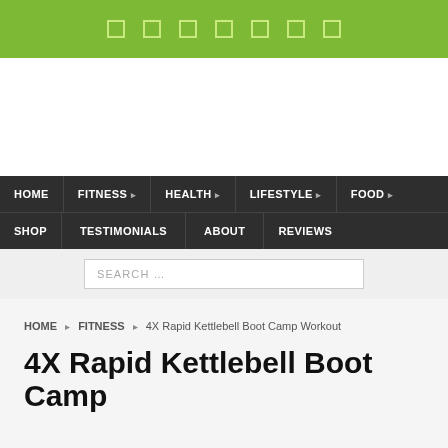Social media icons bar (green top bar)
[Figure (other): Advertisement / banner area (white space)]
HOME | FITNESS | HEALTH | LIFESTYLE | FOOD | SHOP | TESTIMONIALS | ABOUT | REVIEWS
SEARCH …
HOME › FITNESS › 4X Rapid Kettlebell Boot Camp Workout
4X Rapid Kettlebell Boot Camp